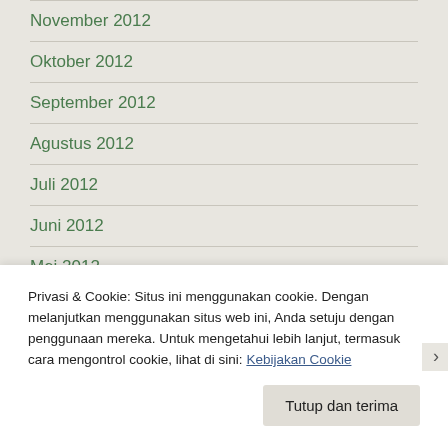November 2012
Oktober 2012
September 2012
Agustus 2012
Juli 2012
Juni 2012
Mei 2012
April 2012
Maret 2012
Privasi & Cookie: Situs ini menggunakan cookie. Dengan melanjutkan menggunakan situs web ini, Anda setuju dengan penggunaan mereka. Untuk mengetahui lebih lanjut, termasuk cara mengontrol cookie, lihat di sini: Kebijakan Cookie
Tutup dan terima